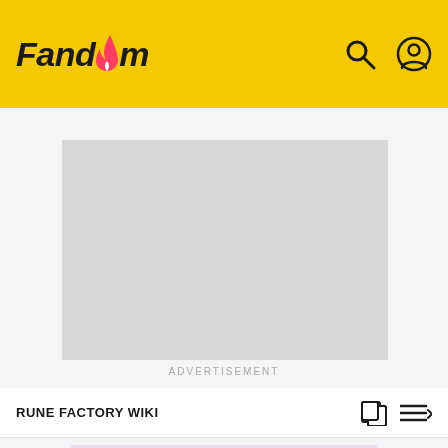Fandom
[Figure (other): Gray advertisement placeholder rectangle]
ADVERTISEMENT
RUNE FACTORY WIKI
Animal Puppets